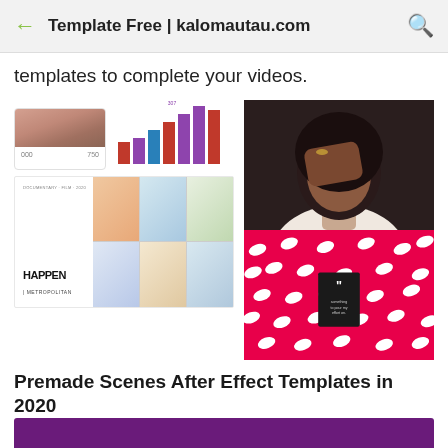Template Free | kalomautau.com
templates to complete your videos.
[Figure (screenshot): Screenshot composite showing a card with a woman's photo and stats, a bar chart with colored bars, a movie/event template with 'HAPPEN' text and photo collage, and a red polka-dot background with a quote card on the right.]
Premade Scenes After Effect Templates in 2020
After